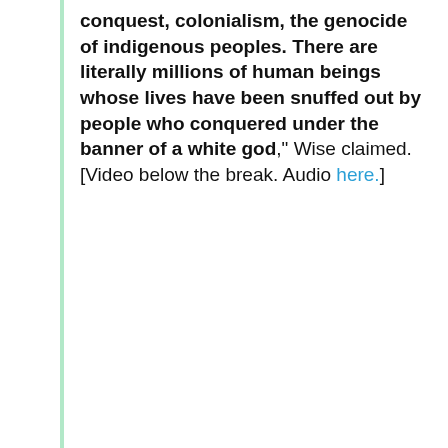conquest, colonialism, the genocide of indigenous peoples. There are literally millions of human beings whose lives have been snuffed out by people who conquered under the banner of a white god," Wise claimed. [Video below the break. Audio here.]